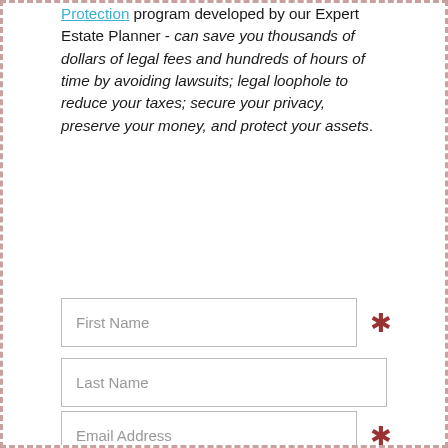Protection program developed by our Expert Estate Planner - can save you thousands of dollars of legal fees and hundreds of hours of time by avoiding lawsuits; legal loophole to reduce your taxes; secure your privacy, preserve your money, and protect your assets.
First Name (required)
Last Name
Email Address (required)
Search